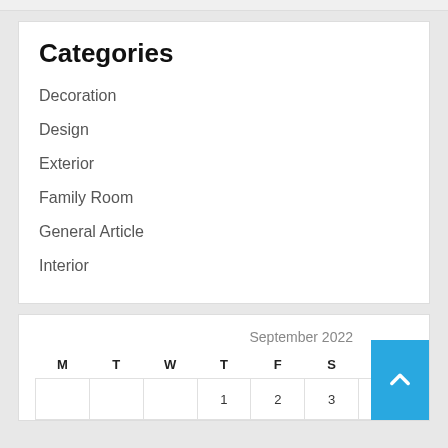Categories
Decoration
Design
Exterior
Family Room
General Article
Interior
| M | T | W | T | F | S | S |
| --- | --- | --- | --- | --- | --- | --- |
|  |  |  | 1 | 2 | 3 | 4 |